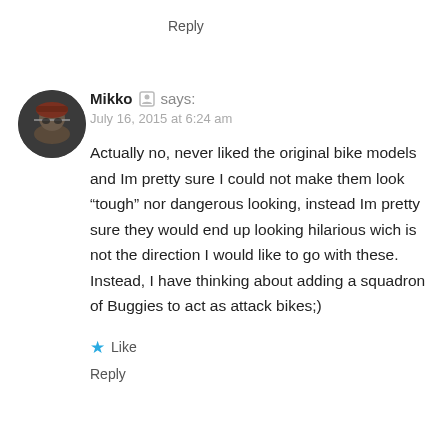Reply
[Figure (photo): Circular avatar photo of a person wearing a hat, in dark/sepia tones]
Mikko says:
July 16, 2015 at 6:24 am
Actually no, never liked the original bike models and Im pretty sure I could not make them look “tough” nor dangerous looking, instead Im pretty sure they would end up looking hilarious wich is not the direction I would like to go with these. Instead, I have thinking about adding a squadron of Buggies to act as attack bikes;)
★ Like
Reply